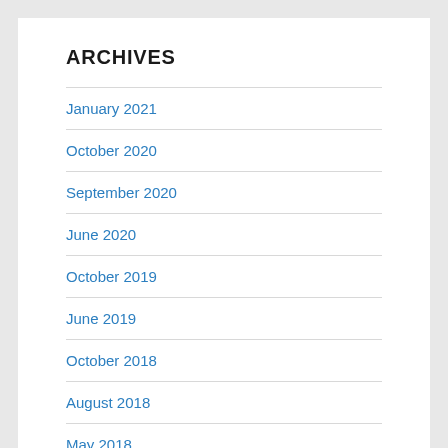ARCHIVES
January 2021
October 2020
September 2020
June 2020
October 2019
June 2019
October 2018
August 2018
May 2018